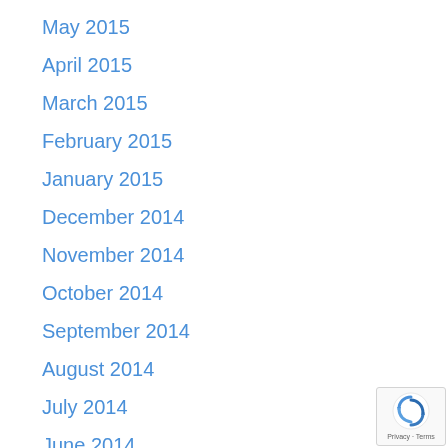May 2015
April 2015
March 2015
February 2015
January 2015
December 2014
November 2014
October 2014
September 2014
August 2014
July 2014
June 2014
May 2014
April 2014
March 2014
[Figure (logo): Google reCAPTCHA badge with recycling-style arrows logo and Privacy/Terms links]